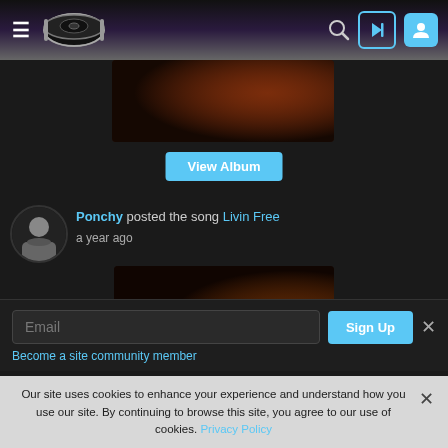Navigation header with hamburger menu, drum logo, search icon, login button, user button
[Figure (photo): Dark brownish album thumbnail image]
View Album
Ponchy posted the song Livin Free a year ago
[Figure (photo): Dark brownish song thumbnail image for Livin Free]
Email
Sign Up
Become a site community member
Our site uses cookies to enhance your experience and understand how you use our site. By continuing to browse this site, you agree to our use of cookies. Privacy Policy